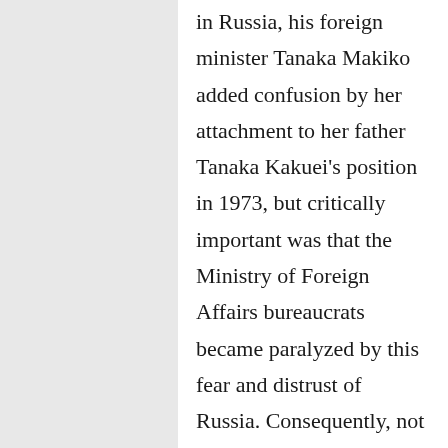in Russia, his foreign minister Tanaka Makiko added confusion by her attachment to her father Tanaka Kakuei's position in 1973, but critically important was that the Ministry of Foreign Affairs bureaucrats became paralyzed by this fear and distrust of Russia. Consequently, not a single round of parallel negotiations took place.

The window of opportunity now opened is the third and, very likely, the last in the foreseeable future for